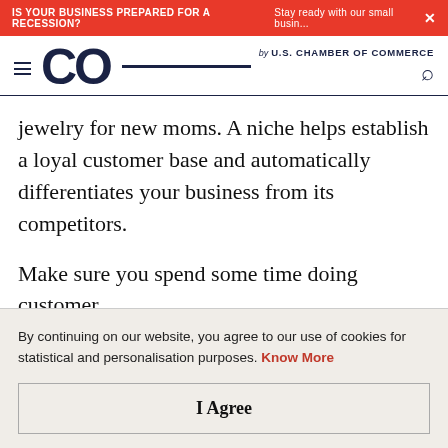IS YOUR BUSINESS PREPARED FOR A RECESSION? Stay ready with our small busin...
[Figure (logo): CO by U.S. Chamber of Commerce logo with hamburger menu and search icon]
jewelry for new moms. A niche helps establish a loyal customer base and automatically differentiates your business from its competitors.
Make sure you spend some time doing customer research before selling your niche. If you are looking into...
By continuing on our website, you agree to our use of cookies for statistical and personalisation purposes. Know More
I Agree